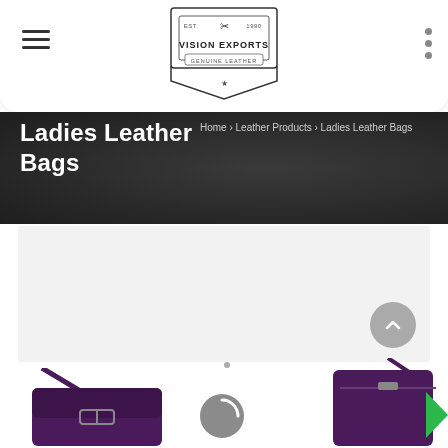[Figure (logo): Vision Exports logo — shield shape with scissors, EST. 1990, GENUINE LEATHER text]
Ladies Leather Bags
Home › Leather Products › Ladies Leather Bags
[Figure (photo): Gray placeholder/content area with scroll-to-top chevron button]
[Figure (photo): Purple ladies leather crossbody bag with buckle flap, left side]
[Figure (photo): Loading spinner icon in center]
[Figure (photo): Purple ladies leather phone crossbody bag, right side]
[Figure (illustration): Green next/arrow indicator on right edge]